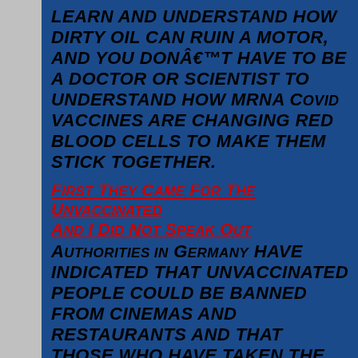LEARN AND UNDERSTAND HOW DIRTY OIL CAN RUIN A MOTOR, AND YOU DONâ€™T HAVE TO BE A DOCTOR OR SCIENTIST TO UNDERSTAND HOW mRNA COVID VACCINES ARE CHANGING RED BLOOD CELLS TO MAKE THEM STICK TOGETHER.
FIRST THEY CAME FOR THE UNVACCINATED AND I DID NOT SPEAK OUT
AUTHORITIES IN GERMANY HAVE INDICATED THAT UNVACCINATED PEOPLE COULD BE BANNED FROM CINEMAS AND RESTAURANTS AND THAT THOSE WHO HAVE TAKEN THE JAB WILL HAVE â€œMORE FREEDOM.â€ ANGELA MERKELâ€™S CHIEF OF STAFF HELGE BRAUN TOLD BILD THAT IF CASES KEEP